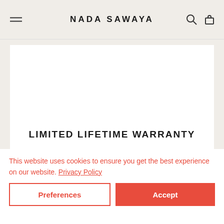NADA SAWAYA
LIMITED LIFETIME WARRANTY
NADA SAWAYA handbags are made with the highest quality materials and craftsmanship and we stand behind each one. We offer limited lifetime warranty.
This website uses cookies to ensure you get the best experience on our website. Privacy Policy
Preferences
Accept